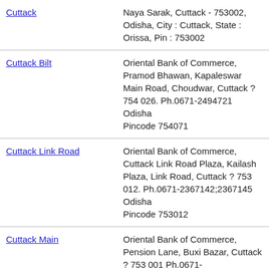| Branch | Address |
| --- | --- |
| Cuttack | Naya Sarak, Cuttack - 753002, Odisha, City : Cuttack, State : Orissa, Pin : 753002 |
| Cuttack Bilt | Oriental Bank of Commerce, Pramod Bhawan, Kapaleswar Main Road, Choudwar, Cuttack ? 754 026. Ph.0671-2494721
Odisha
Pincode 754071 |
| Cuttack Link Road | Oriental Bank of Commerce, Cuttack Link Road Plaza, Kailash Plaza, Link Road, Cuttack ? 753 012. Ph.0671-2367142;2367145
Odisha
Pincode 753012 |
| Cuttack Main | Oriental Bank of Commerce, Pension Lane, Buxi Bazar, Cuttack ? 753 001 Ph.0671-2422571;2425743;2415432 |